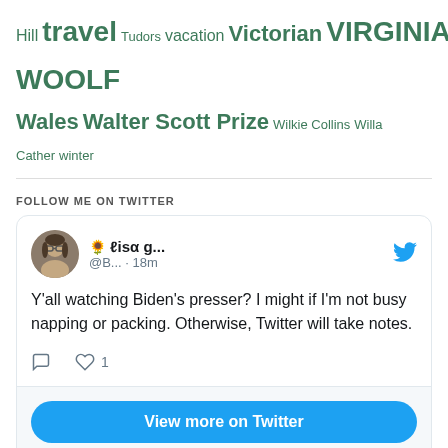Hill travel Tudors vacation Victorian VIRGINIA WOOLF Wales Walter Scott Prize Wilkie Collins Willa Cather winter
FOLLOW ME ON TWITTER
[Figure (screenshot): Embedded Twitter widget showing a tweet by 'lisa g...' (@B...) posted 18 minutes ago: 'Y'all watching Biden's presser? I might if I'm not busy napping or packing. Otherwise, Twitter will take notes.' with 1 like. Below is a 'View more on Twitter' button and 'Learn more about privacy on Twitter' link.]